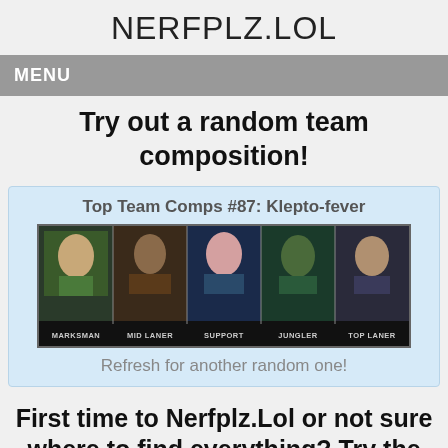NERFPLZ.LOL
MENU
Try out a random team composition!
[Figure (screenshot): Top Team Comps #87: Klepto-fever — banner showing 5 League of Legends champions labeled Marksman, Mid Laner, Support, Jungler, Top Laner]
Refresh for another random one!
First time to Nerfplz.Lol or not sure where to find everything? Try the Site Map